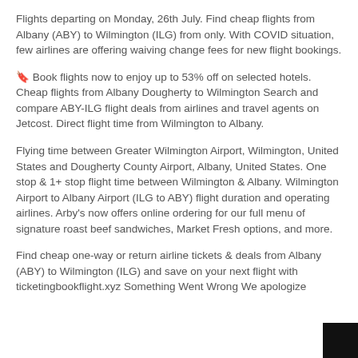Flights departing on Monday, 26th July. Find cheap flights from Albany (ABY) to Wilmington (ILG) from only. With COVID situation, few airlines are offering waiving change fees for new flight bookings.
🔖 Book flights now to enjoy up to 53% off on selected hotels. Cheap flights from Albany Dougherty to Wilmington Search and compare ABY-ILG flight deals from airlines and travel agents on Jetcost. Direct flight time from Wilmington to Albany.
Flying time between Greater Wilmington Airport, Wilmington, United States and Dougherty County Airport, Albany, United States. One stop & 1+ stop flight time between Wilmington & Albany. Wilmington Airport to Albany Airport (ILG to ABY) flight duration and operating airlines. Arby's now offers online ordering for our full menu of signature roast beef sandwiches, Market Fresh options, and more.
Find cheap one-way or return airline tickets & deals from Albany (ABY) to Wilmington (ILG) and save on your next flight with ticketingbookflight.xyz Something Went Wrong We apologize